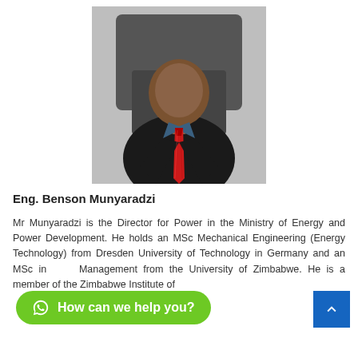[Figure (photo): Portrait photo of Eng. Benson Munyaradzi, a man in a black suit with a red tie and checked shirt, seated in front of a light gray background]
Eng. Benson Munyaradzi
Mr Munyaradzi is the Director for Power in the Ministry of Energy and Power Development. He holds an MSc Mechanical Engineering (Energy Technology) from Dresden University of Technology in Germany and an MSc in [Operations] Management from the University of Zimbabwe. He is a member of the Zimbabwe Institute of